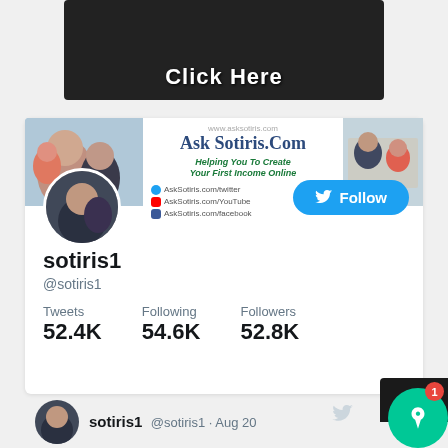[Figure (screenshot): Video thumbnail with 'Click Here' text overlay on dark background]
[Figure (screenshot): Twitter profile page for sotiris1 showing banner with AskSotiris.Com branding, profile photo, Follow button, and stats showing Tweets 52.4K, Following 54.6K, Followers 52.8K]
sotiris1
@sotiris1
Tweets 52.4K Following 54.6K Followers 52.8K
sotiris1 @sotiris1 · Aug 20